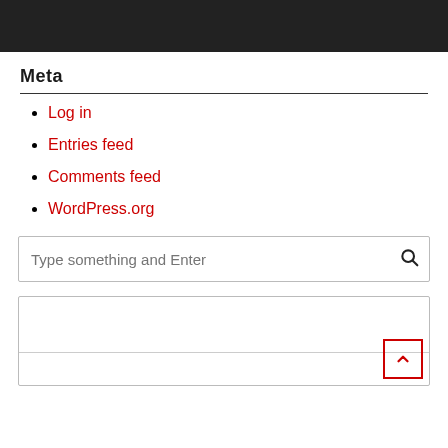[Figure (screenshot): Dark black header bar at top of page]
Meta
Log in
Entries feed
Comments feed
WordPress.org
[Figure (screenshot): Search input box with placeholder text 'Type something and Enter' and a search icon on the right]
[Figure (screenshot): Bottom box with horizontal rule and a red back-to-top arrow button in bottom-right corner]